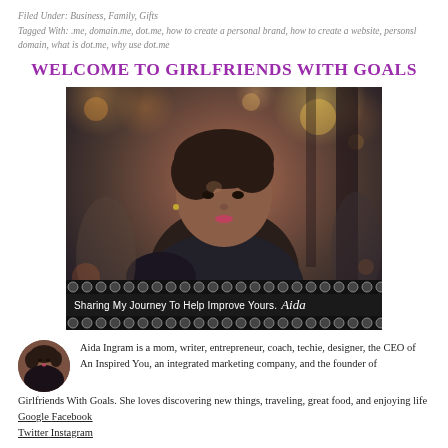Filed Under: Business, Family, Gifts
Tagged With: .me, domain.me, dot.me, how to create a personal brand, how to create a website, personsl domain, what is dot.me, why use dot.me
WELCOME TO GIRLFRIENDS WITH GOALS
[Figure (photo): Portrait photo of Aida Ingram with overlay text 'Sharing My Journey To Help Improve Yours. Aida' on decorative dot-pattern bar at the bottom]
Aida Ingram is a mom, writer, entrepreneur, coach, techie, designer, the CEO of An Inspired You, an integrated marketing company, and the founder of Girlfriends With Goals. She loves discovering new things, traveling, great food, and enjoying life Google Facebook Twitter Instagram